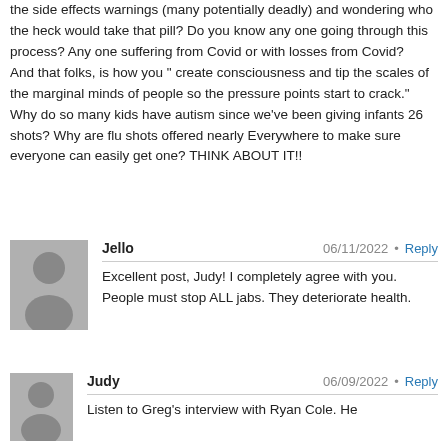the side effects warnings (many potentially deadly) and wondering who the heck would take that pill? Do you know any one going through this process? Any one suffering from Covid or with losses from Covid?
And that folks, is how you " create consciousness and tip the scales of the marginal minds of people so the pressure points start to crack." Why do so many kids have autism since we've been giving infants 26 shots? Why are flu shots offered nearly Everywhere to make sure everyone can easily get one? THINK ABOUT IT!!
Jello
06/11/2022 • Reply
Excellent post, Judy! I completely agree with you. People must stop ALL jabs. They deteriorate health.
Judy
06/09/2022 • Reply
Listen to Greg's interview with Ryan Cole. He